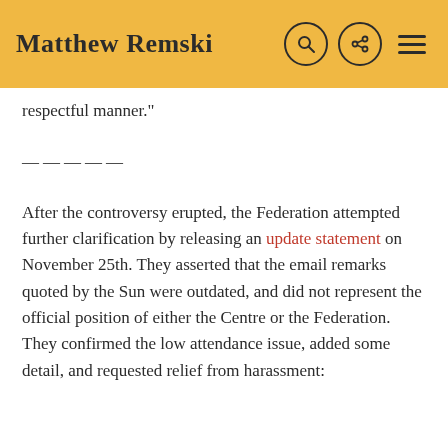Matthew Remski
respectful manner."
—————
After the controversy erupted, the Federation attempted further clarification by releasing an update statement on November 25th. They asserted that the email remarks quoted by the Sun were outdated, and did not represent the official position of either the Centre or the Federation. They confirmed the low attendance issue, added some detail, and requested relief from harassment: